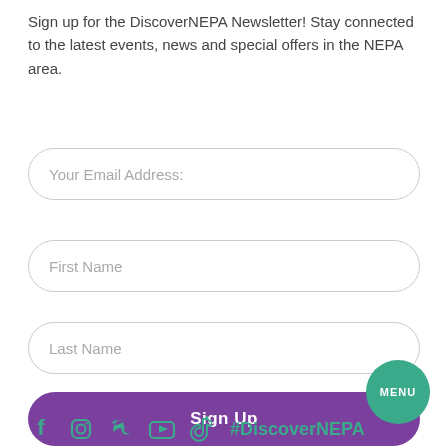Sign up for the DiscoverNEPA Newsletter! Stay connected to the latest events, news and special offers in the NEPA area.
Your Email Address:
First Name
Last Name
Sign Up
MENU
#DiscoverNEPA